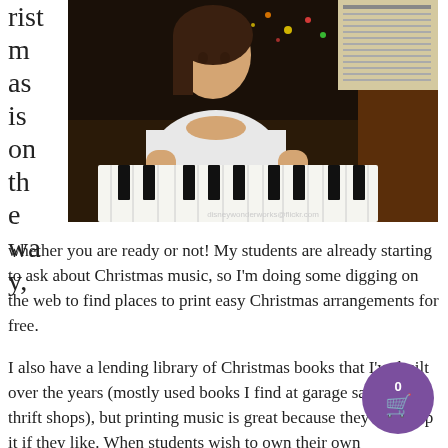ristmas is on the way,
[Figure (photo): Young girl playing piano with Christmas lights in background. Photo credit: disneywonderworks@flickr.com]
whether you are ready or not!  My students are already starting to ask about Christmas music, so I'm doing some digging on the web to find places to print easy Christmas arrangements for free.
I also have a lending library of Christmas books that I've built over the years (mostly used books I find at garage sales and thrift shops), but printing music is great because they can keep it if they like.  When students wish to own their own